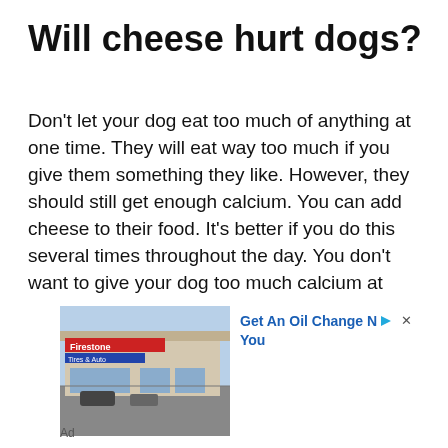Will cheese hurt dogs?
Don't let your dog eat too much of anything at one time. They will eat way too much if you give them something they like. However, they should still get enough calcium. You can add cheese to their food. It's better if you do this several times throughout the day. You don't want to give your dog too much calcium at once. You also don't want to give your dog too little calcium either. Too little calcium can cause their bones to weaken and break, causing some serious problems
[Figure (photo): Advertisement showing a Firestone auto service building exterior with text 'Get An Oil Change N▶ X You']